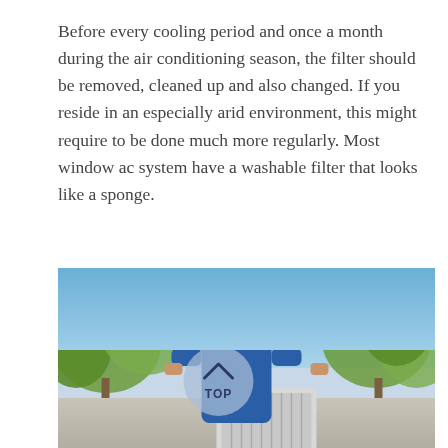Before every cooling period and once a month during the air conditioning season, the filter should be removed, cleaned up and also changed. If you reside in an especially arid environment, this might require to be done much more regularly. Most window ac system have a washable filter that looks like a sponge.
[Figure (photo): A man wearing a blue uniform and face mask holds an AC filter or fan component outdoors, with trees and blue sky in the background. A semi-transparent circular 'TOP' button overlay appears in the center of the image.]